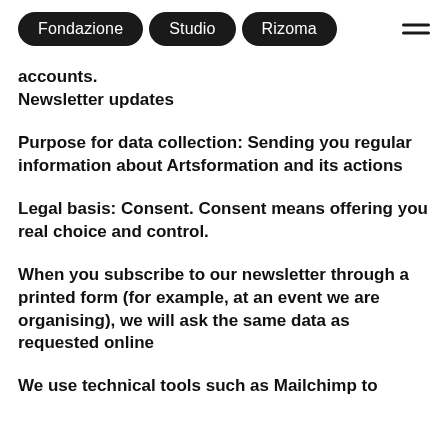Fondazione  Studio  Rizoma
accounts.
Newsletter updates
Purpose for data collection: Sending you regular information about Artsformation and its actions
Legal basis: Consent. Consent means offering you real choice and control.
When you subscribe to our newsletter through a printed form (for example, at an event we are organising), we will ask the same data as requested online
We use technical tools such as Mailchimp to